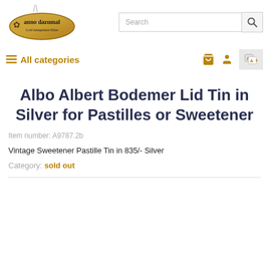[Figure (logo): Anno Dazumal antique shop logo — oval golden badge with brand name and decorative figure, suspended by chains]
Albo Albert Bodemer Lid Tin in Silver for Pastilles or Sweetener
Item number: A9787.2b
Vintage Sweetener Pastille Tin in 835/- Silver
Category: sold out